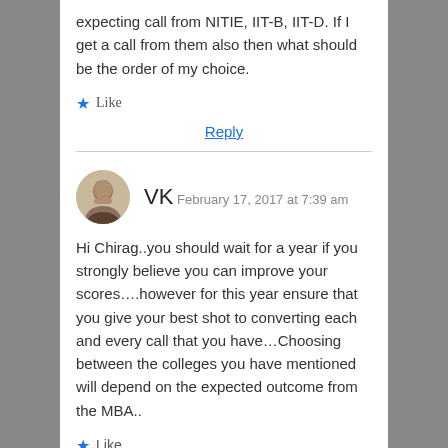expecting call from NITIE, IIT-B, IIT-D. If I get a call from them also then what should be the order of my choice.
★ Like
Reply
VK  February 17, 2017 at 7:39 am
Hi Chirag..you should wait for a year if you strongly believe you can improve your scores….however for this year ensure that you give your best shot to converting each and every call that you have…Choosing between the colleges you have mentioned will depend on the expected outcome from the MBA..
★ Like